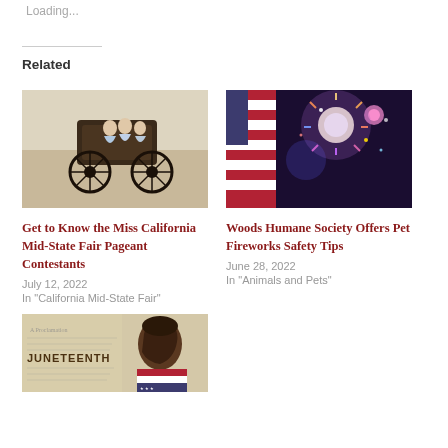Loading...
Related
[Figure (photo): Women in period dress seated in a horse-drawn carriage outdoors]
Get to Know the Miss California Mid-State Fair Pageant Contestants
July 12, 2022
In "California Mid-State Fair"
[Figure (photo): Fireworks exploding over an American flag at night]
Woods Humane Society Offers Pet Fireworks Safety Tips
June 28, 2022
In "Animals and Pets"
[Figure (photo): Juneteenth themed image with a silhouette profile and American flag]